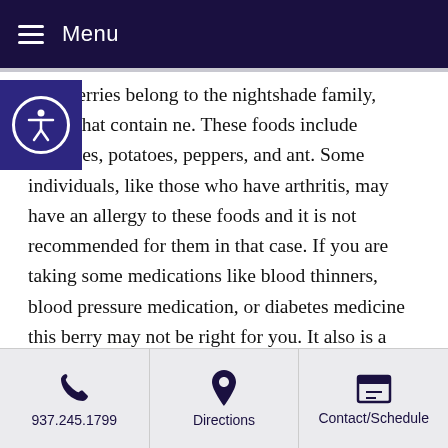Menu
Goji berries belong to the nightshade family, foods that contain ne. These foods include tomatoes, potatoes, peppers, and ant. Some individuals, like those who have arthritis, may have an allergy to these foods and it is not recommended for them in that case. If you are taking some medications like blood thinners, blood pressure medication, or diabetes medicine this berry may not be right for you. It also is a “warming” food, so refrain if you have a fever or the flu. If you are fine with those foods and don’t run too hot, go ahead and indulge in what might become your favorite berry. Benefits may vary depending on the individual, and it’s best to start with a smaller amount and see how you feel. If these aren’t for you, you can also try similar foods like the acai berry, elderberry, or tart cherries. It’s best to eat them
937.245.1799 | Directions | Contact/Schedule